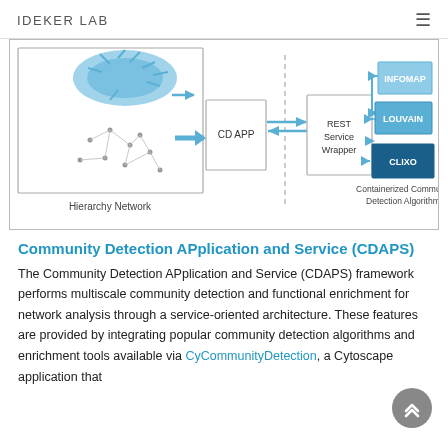IDEKER LAB
[Figure (engineering-diagram): Architecture diagram showing a Hierarchy Network connected to a CD APP, which connects via a dashed boundary to a REST Service Wrapper, which connects to three containerized community detection algorithms: INFOMAP, LOUVAIN, and CLIXO. Label reads 'Containerized Community Detection Algorithms'.]
Community Detection APplication and Service (CDAPS)
The Community Detection APplication and Service (CDAPS) framework performs multiscale community detection and functional enrichment for network analysis through a service-oriented architecture. These features are provided by integrating popular community detection algorithms and enrichment tools available via CyCommunityDetection, a Cytoscape application that